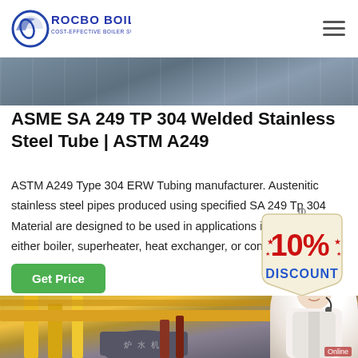ROCBO BOILER — COST-EFFECTIVE BOILER SUPPLIER
[Figure (photo): Top banner image showing industrial/boiler environment]
ASME SA 249 TP 304 Welded Stainless Steel Tube | ASTM A249
ASTM A249 Type 304 ERW Tubing manufacturer. Austenitic stainless steel pipes produced using specified SA 249 Tp 304 Material are designed to be used in applications i... g for either boiler, superheater, heat exchanger, or con...
[Figure (infographic): 10% DISCOUNT badge/tag graphic]
[Figure (photo): Get Price button — green CTA button]
[Figure (photo): Bottom image showing boiler pipes and customer service representative with headset]